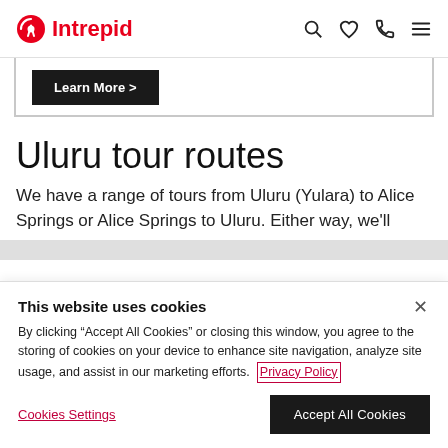Intrepid
Learn More >
Uluru tour routes
We have a range of tours from Uluru (Yulara) to Alice Springs or Alice Springs to Uluru. Either way, we'll
This website uses cookies

By clicking "Accept All Cookies" or closing this window, you agree to the storing of cookies on your device to enhance site navigation, analyze site usage, and assist in our marketing efforts. Privacy Policy

Cookies Settings | Accept All Cookies